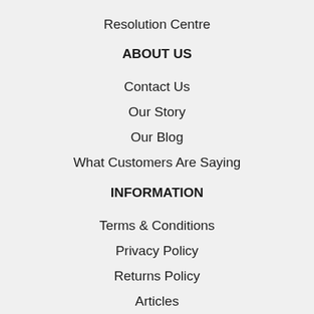Resolution Centre
ABOUT US
Contact Us
Our Story
Our Blog
What Customers Are Saying
INFORMATION
Terms & Conditions
Privacy Policy
Returns Policy
Articles